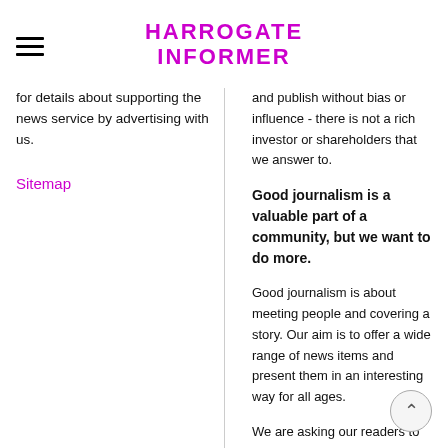HARROGATE INFORMER
for details about supporting the news service by advertising with us.
Sitemap
and publish without bias or influence - there is not a rich investor or shareholders that we answer to.
Good journalism is a valuable part of a community, but we want to do more.
Good journalism is about meeting people and covering a story. Our aim is to offer a wide range of news items and present them in an interesting way for all ages.
We are asking our readers to make a small donation, either as a one-off donation or a regular